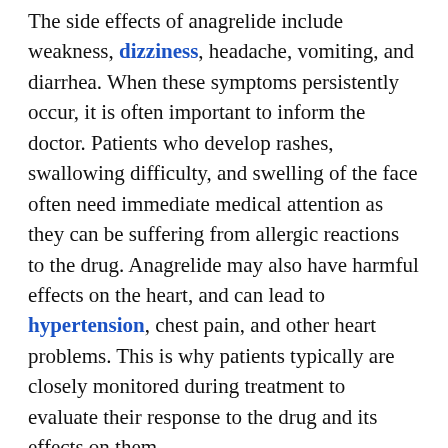The side effects of anagrelide include weakness, dizziness, headache, vomiting, and diarrhea. When these symptoms persistently occur, it is often important to inform the doctor. Patients who develop rashes, swallowing difficulty, and swelling of the face often need immediate medical attention as they can be suffering from allergic reactions to the drug. Anagrelide may also have harmful effects on the heart, and can lead to hypertension, chest pain, and other heart problems. This is why patients typically are closely monitored during treatment to evaluate their response to the drug and its effects on them.